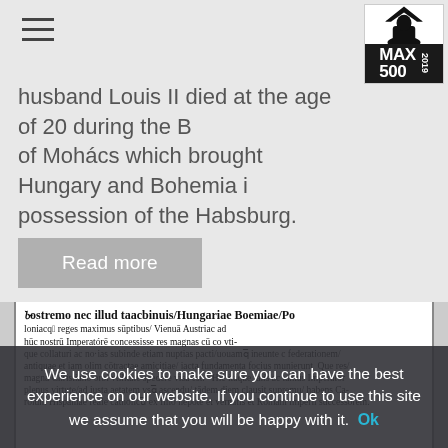[Figure (logo): MAX 500 2019 logo with silhouette of a person in a tricorn hat]
husband Louis II died at the age of 20 during the Battle of Mohács which brought Hungary and Bohemia in possession of the Habsburg.
Read more
[Figure (photo): Historical document with Latin text in Gothic script starting with 'Postremo nec illud taacbinuis, Hungariae Boemiae Poloniacq reges maximus sumptibus, Vienna Austriac ad huc nostrum Imperatorem concessisse res magnas cum co utique collaturi ac nostras subinde etiam nuptias pacti nouamq ineunte c federationem antiquae et iam olim contractae amicitiae iacta fundamenta fecius munierunt...']
We use cookies to make sure you can have the best experience on our website. If you continue to use this site we assume that you will be happy with it.  Ok